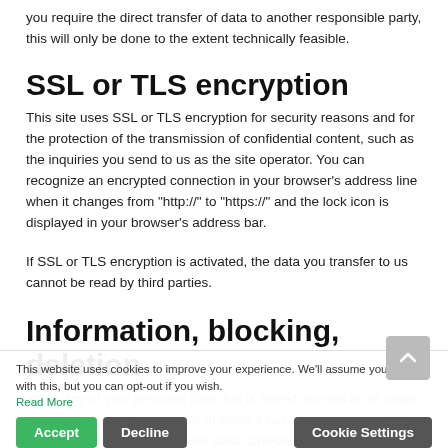you require the direct transfer of data to another responsible party, this will only be done to the extent technically feasible.
SSL or TLS encryption
This site uses SSL or TLS encryption for security reasons and for the protection of the transmission of confidential content, such as the inquiries you send to us as the site operator. You can recognize an encrypted connection in your browser’s address line when it changes from “http://” to “https://” and the lock icon is displayed in your browser’s address bar.
If SSL or TLS encryption is activated, the data you transfer to us cannot be read by third parties.
Information, blocking, deletion
about any of your personal data that is stored, as well as its origin, the recipient and the purpose of when it has been processed. You also have the right to have this data corrected, blocked or deleted. You can contact us at any time using the
This website uses cookies to improve your experience. We’ll assume you’re ok with this, but you can opt-out if you wish.
Read More